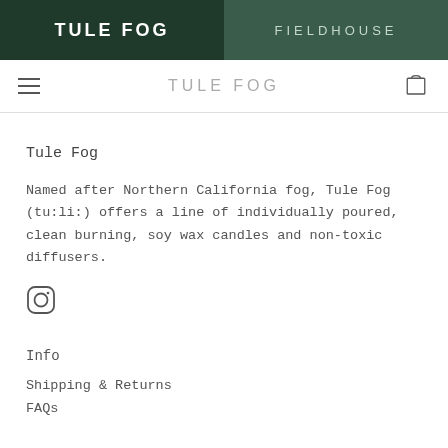TULE FOG | FIELDHOUSE
TULE FOG
Tule Fog
Named after Northern California fog, Tule Fog (tu:li:) offers a line of individually poured, clean burning, soy wax candles and non-toxic diffusers.
[Figure (logo): Instagram icon (circle with camera outline)]
Info
Shipping & Returns
FAQs